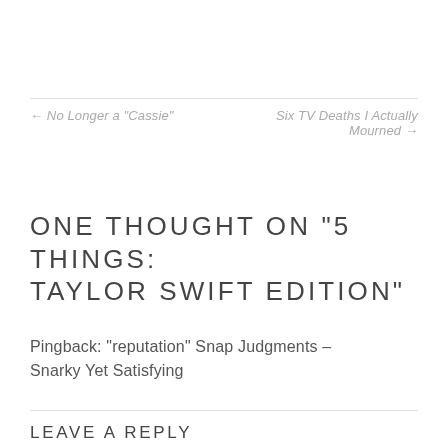← No Longer a “Cassie”
Six TV Deaths I Actually Mourned →
ONE THOUGHT ON “5 THINGS: TAYLOR SWIFT EDITION”
Pingback: “reputation” Snap Judgments – Snarky Yet Satisfying
LEAVE A REPLY